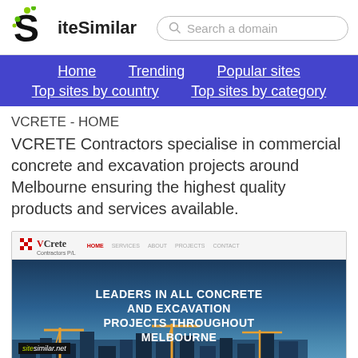SiteSimilar
Home   Trending   Popular sites   Top sites by country   Top sites by category
VCRETE - HOME
VCRETE Contractors specialise in commercial concrete and excavation projects around Melbourne ensuring the highest quality products and services available.
[Figure (screenshot): Screenshot of VCRETE Contractors website showing logo, navigation bar with HOME, SERVICES, ABOUT, PROJECTS, CONTACT, and a hero image with text LEADERS IN ALL CONCRETE AND EXCAVATION PROJECTS THROUGHOUT MELBOURNE with construction cranes in background. Watermark reading sitesimilar.net overlaid.]